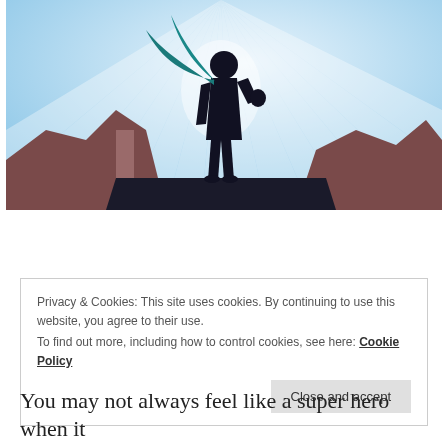[Figure (illustration): Silhouette of a superhero figure wearing a teal cape, standing on a rock pedestal against a light blue radiant background with rocky formations on either side]
Privacy & Cookies: This site uses cookies. By continuing to use this website, you agree to their use.
To find out more, including how to control cookies, see here: Cookie Policy
Close and accept
You may not always feel like a super hero when it